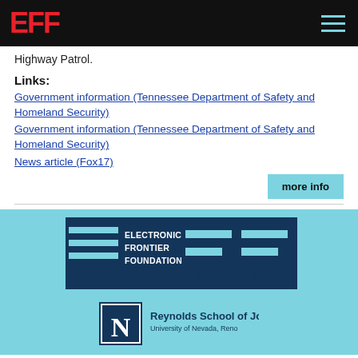EFF
Highway Patrol.
Links:
Government information (Tennessee Department of Safety and Homeland Security)
Government information (Tennessee Department of Safety and Homeland Security)
News article (Fox17)
[Figure (logo): Electronic Frontier Foundation full logo with EFF letters in dark blue on light blue background]
[Figure (logo): Reynolds School of Journalism, University of Nevada, Reno logo with N box]